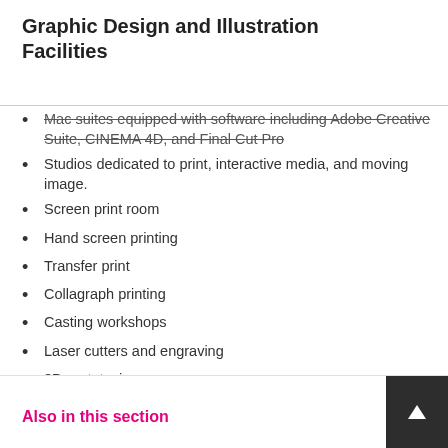Graphic Design and Illustration Facilities
Mac suites equipped with software including Adobe Creative Suite, CINEMA 4D, and Final Cut Pro
Studios dedicated to print, interactive media, and moving image.
Screen print room
Hand screen printing
Transfer print
Collagraph printing
Casting workshops
Laser cutters and engraving
3D prototyping.
Also in this section